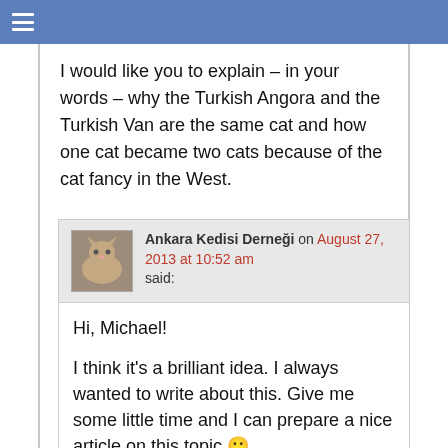≡
I would like you to explain – in your words – why the Turkish Angora and the Turkish Van are the same cat and how one cat became two cats because of the cat fancy in the West.

If you have time please tell me. I can do it but it would not be as good as yours.
Reply ↓
Ankara Kedisi Derneği on August 27, 2013 at 10:52 am said:
Hi, Michael!

I think it's a brilliant idea. I always wanted to write about this. Give me some little time and I can prepare a nice article on this topic 🙂
Reply ↓